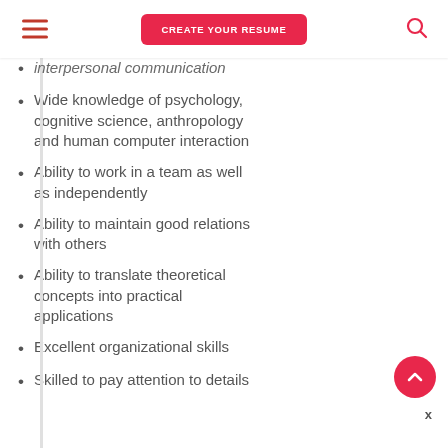CREATE YOUR RESUME
interpersonal communication
Wide knowledge of psychology, cognitive science, anthropology and human computer interaction
Ability to work in a team as well as independently
Ability to maintain good relations with others
Ability to translate theoretical concepts into practical applications
Excellent organizational skills
Skilled to pay attention to details